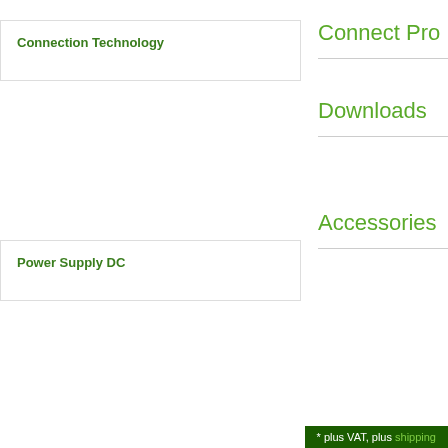Connection Technology
Power Supply DC
Connect Pro
Downloads
Accessories
s & Categories
n the Control Cabinet
Technology
s
Shop online safely!
Delivery and Shipment
Copper Surcharge
Privacy Policy
Terms and Conditions
About Murrelektro
New Murrelektronik Onlin
About Us
Services & FAQs
* plus VAT, plus shipping